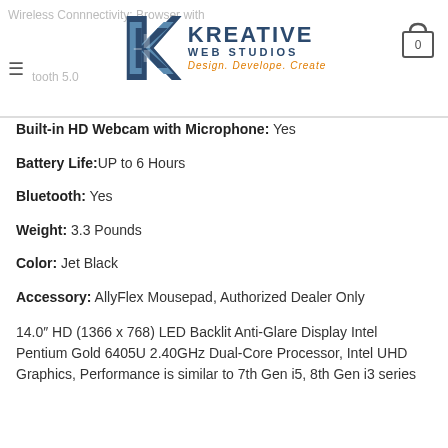Wireless Connectivity: Bluetooth 5.0 — Kreative Web Studios logo — Cart 0
Built-in HD Webcam with Microphone: Yes
Battery Life: UP to 6 Hours
Bluetooth: Yes
Weight: 3.3 Pounds
Color: Jet Black
Accessory: AllyFlex Mousepad, Authorized Dealer Only
14.0" HD (1366 x 768) LED Backlit Anti-Glare Display Intel Pentium Gold 6405U 2.40GHz Dual-Core Processor, Intel UHD Graphics, Performance is similar to 7th Gen i5, 8th Gen i3 series